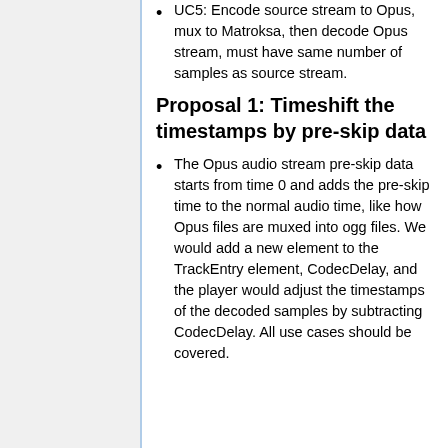UC5: Encode source stream to Opus, mux to Matroksa, then decode Opus stream, must have same number of samples as source stream.
Proposal 1: Timeshift the timestamps by pre-skip data
The Opus audio stream pre-skip data starts from time 0 and adds the pre-skip time to the normal audio time, like how Opus files are muxed into ogg files. We would add a new element to the TrackEntry element, CodecDelay, and the player would adjust the timestamps of the decoded samples by subtracting CodecDelay. All use cases should be covered.